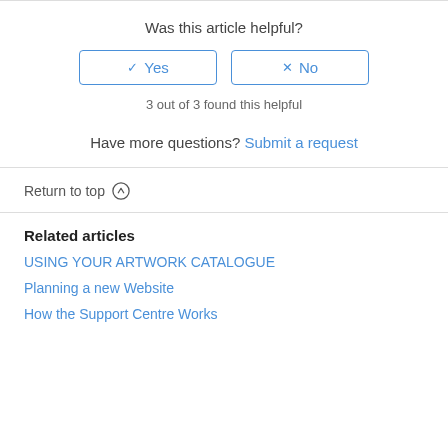Was this article helpful?
[Figure (other): Yes and No buttons with checkmark and X icons]
3 out of 3 found this helpful
Have more questions? Submit a request
Return to top ↑
Related articles
USING YOUR ARTWORK CATALOGUE
Planning a new Website
How the Support Centre Works